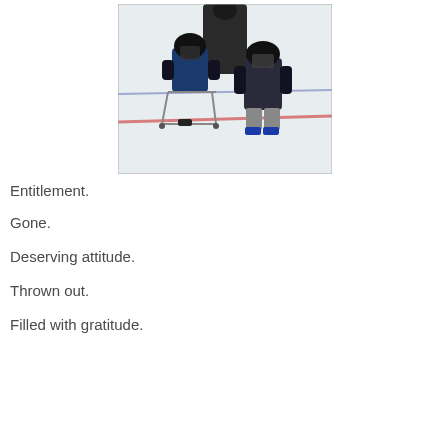[Figure (photo): Two young children in hockey helmets and gear on an ice rink. One child is seated in a skating aid frame, the other stands beside them. An adult is partially visible behind them.]
Entitlement.
Gone.
Deserving attitude.
Thrown out.
Filled with gratitude.